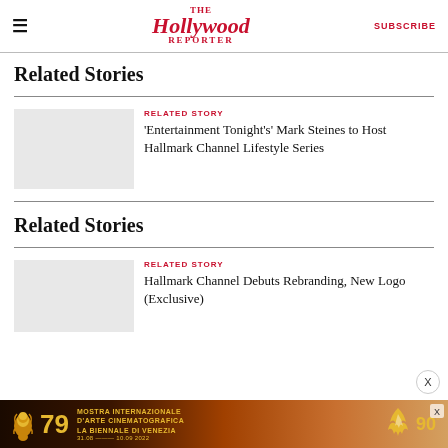The Hollywood Reporter | SUBSCRIBE
Related Stories
RELATED STORY
'Entertainment Tonight's' Mark Steines to Host Hallmark Channel Lifestyle Series
Related Stories
RELATED STORY
Hallmark Channel Debuts Rebranding, New Logo (Exclusive)
[Figure (infographic): Mostra Internazionale D'Arte Cinematografica La Biennale di Venezia 79th edition advertisement banner, 31.08 - 10.09 2022]